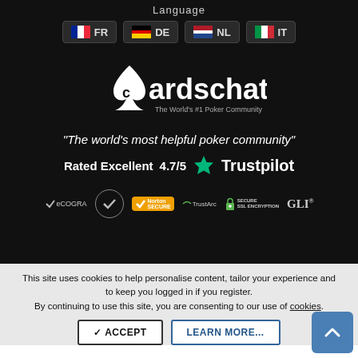Language
[Figure (infographic): Language selection buttons with flags: FR (France), DE (Germany), NL (Netherlands), IT (Italy)]
[Figure (logo): CardsChat logo - The World's #1 Poker Community]
“The world’s most helpful poker community”
Rated Excellent  4.7/5  ★ Trustpilot
[Figure (infographic): Trust badges: eCOGRA, VeriSign Secured, Norton SECURED, TrustArc, Secure SSL Encryption, GLI]
This site uses cookies to help personalise content, tailor your experience and to keep you logged in if you register.
By continuing to use this site, you are consenting to our use of cookies.
ACCEPT   LEARN MORE...